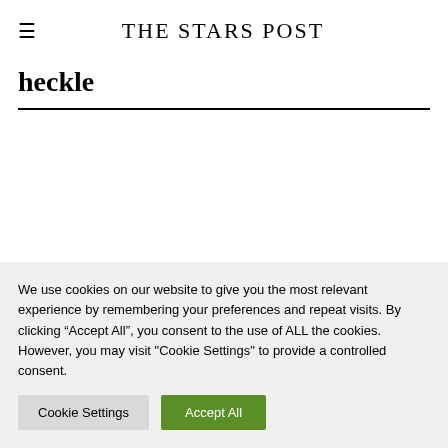THE STARS POST
heckle
We use cookies on our website to give you the most relevant experience by remembering your preferences and repeat visits. By clicking "Accept All", you consent to the use of ALL the cookies. However, you may visit "Cookie Settings" to provide a controlled consent.